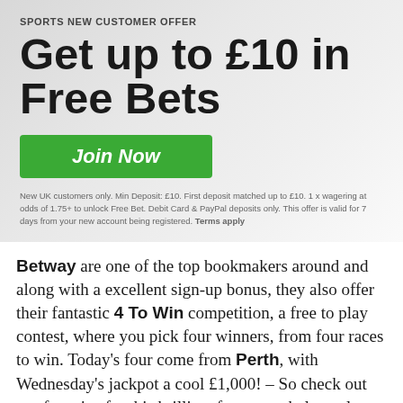SPORTS NEW CUSTOMER OFFER
Get up to £10 in Free Bets
[Figure (other): Green 'Join Now' button]
New UK customers only. Min Deposit: £10. First deposit matched up to £10. 1 x wagering at odds of 1.75+ to unlock Free Bet. Debit Card & PayPal deposits only. This offer is valid for 7 days from your new account being registered. Terms apply
Betway are one of the top bookmakers around and along with a excellent sign-up bonus, they also offer their fantastic 4 To Win competition, a free to play contest, where you pick four winners, from four races to win. Today's four come from Perth, with Wednesday's jackpot a cool £1,000! – So check out our four tips for this brilliant free game below, plus claim up